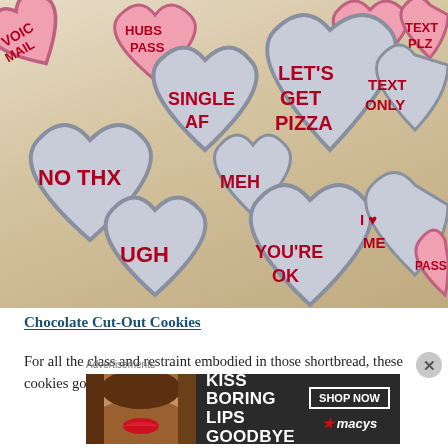[Figure (photo): Heart-shaped chocolate cut-out cookies decorated with red icing text on pink and purple/grey frosting. Cookies display phrases: SINGLE AF, LET'S GET PIZZA, TEXT ONLY, NO THX, MEH, UGH, YOU'RE OK, I LOVE ME, PASS, VOICEMAIL, HUBS PASS, FIND, TEXT PLZ]
Chocolate Cut-Out Cookies
For all the class and restraint embodied in those shortbread, these cookies go in the exact opposite
Advertisements
[Figure (advertisement): Macy's advertisement banner: KISS BORING LIPS GOODBYE with SHOP NOW button and Macy's star logo, featuring a woman's face with red lips]